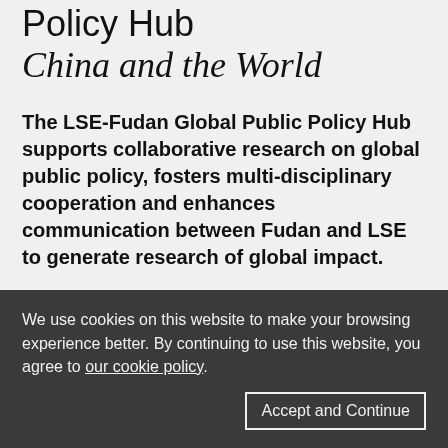Policy Hub
China and the World
The LSE-Fudan Global Public Policy Hub supports collaborative research on global public policy, fosters multi-disciplinary cooperation and enhances communication between Fudan and LSE to generate research of global impact.
The Hub is a sub-Centre of the LSE-Fudan Research Centre for Global Public Policy
We use cookies on this website to make your browsing experience better. By continuing to use this website, you agree to our cookie policy.
Accept and Continue